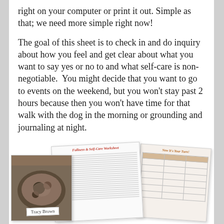right on your computer or print it out. Simple as that; we need more simple right now!
The goal of this sheet is to check in and do inquiry about how you feel and get clear about what you want to say yes or no to and what self-care is non-negotiable.  You might decide that you want to go to events on the weekend, but you won't stay past 2 hours because then you won't have time for that walk with the dog in the morning or grounding and journaling at night.
[Figure (illustration): A composite image showing worksheet pages titled 'Fullness & Self-Care Worksheet' and 'Now It's Your Turn!', alongside a food photograph and a name tag reading 'Tracy Brown'.]